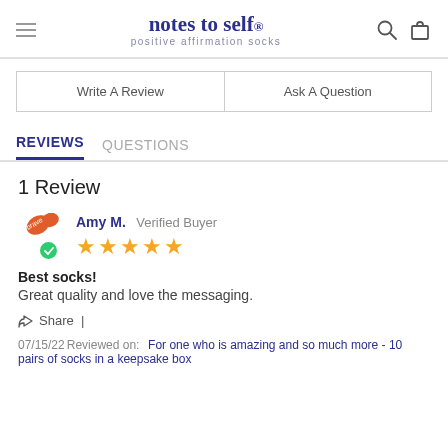notes to self. positive affirmation socks
Write A Review
Ask A Question
REVIEWS  QUESTIONS
1 Review
Amy M.  Verified Buyer
[Figure (other): 5 star rating with yellow stars]
Best socks!
Great quality and love the messaging.
Share |
07/15/22 Reviewed on:   For one who is amazing and so much more - 10 pairs of socks in a keepsake box